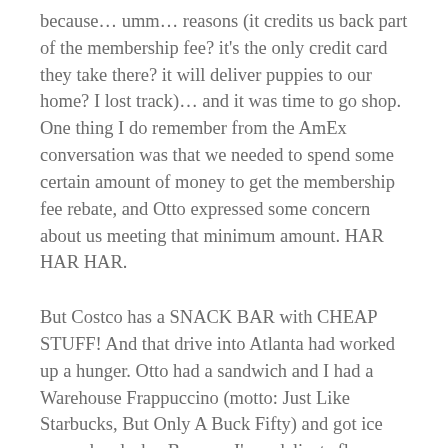because… umm… reasons (it credits us back part of the membership fee? it's the only credit card they take there? it will deliver puppies to our home? I lost track)… and it was time to go shop. One thing I do remember from the AmEx conversation was that we needed to spend some certain amount of money to get the membership fee rebate, and Otto expressed some concern about us meeting that minimum amount. HAR HAR HAR.
But Costco has a SNACK BAR with CHEAP STUFF! And that drive into Atlanta had worked up a hunger. Otto had a sandwich and I had a Warehouse Frappuccino (motto: Just Like Starbucks, But Only A Buck Fifty) and got ice cream headache. Because I'm a delicate flower like that. But THEN it was time to go shop.
We popped our Costco cherry with a case of Sun Chips for the kids, giggling about how it already took up half our cart. But there was a COUPON, taking it from cheap to OMGSOCHEAP. Shortly thereafter I discovered a twin